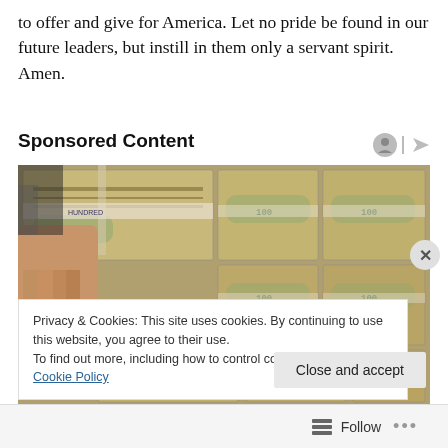to offer and give for America. Let no pride be found in our future leaders, but instill in them only a servant spirit. Amen.
Sponsored Content
[Figure (photo): Stacks of bundled US $100 dollar bills being held and arranged on a surface, showing multiple bricks of currency.]
Privacy & Cookies: This site uses cookies. By continuing to use this website, you agree to their use.
To find out more, including how to control cookies, see here: Cookie Policy
Close and accept
Follow